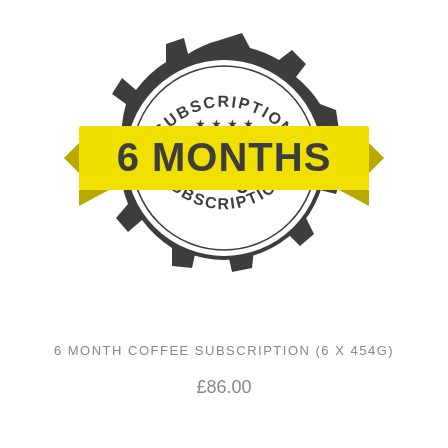[Figure (illustration): A circular badge/seal graphic with dark grey gear-like border. The top arc reads 'SUBSCRIPTION' in bold uppercase letters. Inside the circle are four stars arranged in an arc. A wide yellow ribbon banner crosses diagonally over the badge with bold dark text '6 MONTHS'. Below the ribbon inside the circle is '454g' in dark text. The bottom arc reads 'SUBSCRIPTION' in bold uppercase letters.]
6 MONTH COFFEE SUBSCRIPTION (6 X 454G)
£86.00